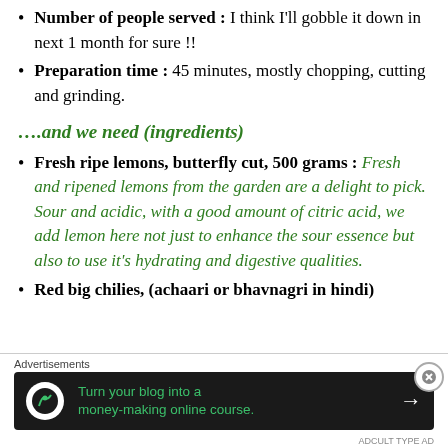Number of people served : I think I'll gobble it down in next 1 month for sure !!
Preparation time : 45 minutes, mostly chopping, cutting and grinding.
….and we need (ingredients)
Fresh ripe lemons, butterfly cut, 500 grams : Fresh and ripened lemons from the garden are a delight to pick. Sour and acidic, with a good amount of citric acid, we add lemon here not just to enhance the sour essence but also to use it's hydrating and digestive qualities.
Red big chilies, (achaari or bhavnagri in hindi)
Advertisements
[Figure (infographic): Advertisement banner: Turn your blog into a money-making online course. Dark background with green text and arrow.]